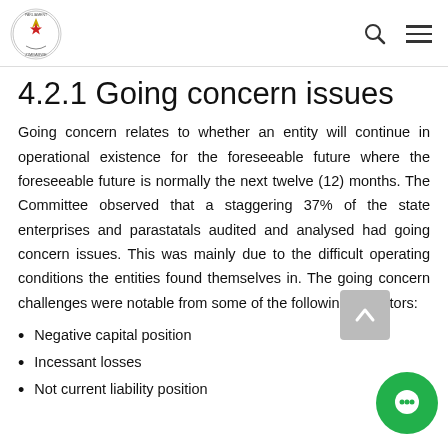Parliament of Zimbabwe logo, search icon, menu icon
4.2.1 Going concern issues
Going concern relates to whether an entity will continue in operational existence for the foreseeable future where the foreseeable future is normally the next twelve (12) months. The Committee observed that a staggering 37% of the state enterprises and parastatals audited and analysed had going concern issues. This was mainly due to the difficult operating conditions the entities found themselves in. The going concern challenges were notable from some of the following indicators:
Negative capital position
Incessant losses
Not current liability position